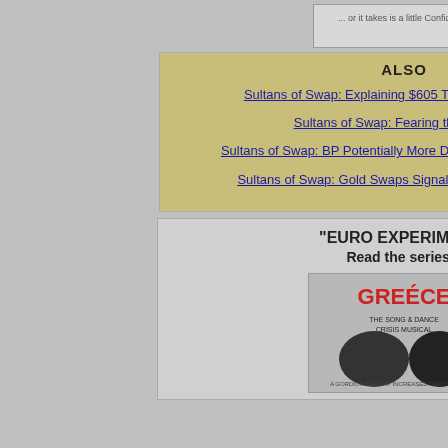[Figure (illustration): Cartoon image at top of center column]
ALSO
Sultans of Swap: Explaining $605 Trillion in Derivatives!
Sultans of Swap: Fearing the Gearing!
Sultans of Swap: BP Potentially More Devistating than Lehman!
Sultans of Swap: Gold Swaps Signal the Roadmap Ahead
"EURO EXPERIMENT"
Read the series...
[Figure (illustration): Greece musical parody image]
Private cons consumption declined at the contribu flat in Q4, d for the seco contraction (-0.6%qoq). dragging the
Italy: -0.9% (after -0.2% (Cons:-0.6% available u time in the e existing aus on February
Spain: -0.7% 29). The ou expectation breakdown published o basis of the
Smaller economies